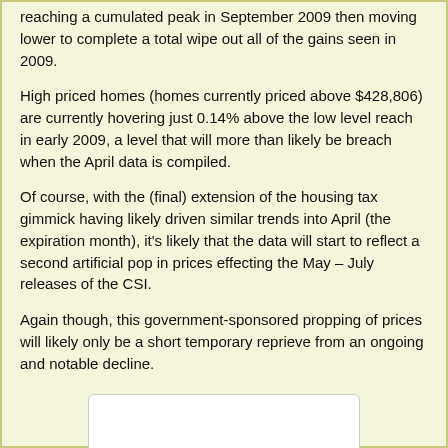reaching a cumulated peak in September 2009 then moving lower to complete a total wipe out all of the gains seen in 2009.
High priced homes (homes currently priced above $428,806) are currently hovering just 0.14% above the low level reach in early 2009, a level that will more than likely be breach when the April data is compiled.
Of course, with the (final) extension of the housing tax gimmick having likely driven similar trends into April (the expiration month), it’s likely that the data will start to reflect a second artificial pop in prices effecting the May – July releases of the CSI.
Again though, this government-sponsored propping of prices will likely only be a short temporary reprieve from an ongoing and notable decline.
[Figure (other): White rectangular box, partially visible at bottom of page, likely a chart placeholder.]